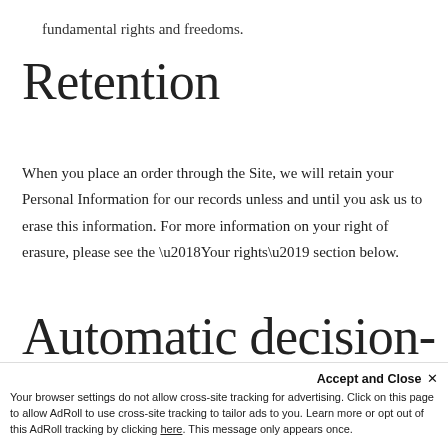fundamental rights and freedoms.
Retention
When you place an order through the Site, we will retain your Personal Information for our records unless and until you ask us to erase this information. For more information on your right of erasure, please see the ‘Your rights’ section below.
Automatic decision-making
Your browser settings do not allow cross-site tracking for advertising. Click on this page to allow AdRoll to use cross-site tracking to tailor ads to you. Learn more or opt out of this AdRoll tracking by clicking here. This message only appears once.